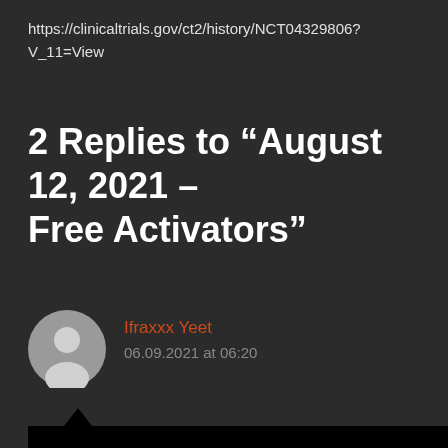https://clinicaltrials.gov/ct2/history/NCT04329806?V_11=View
2 Replies to “August 12, 2021 – Free Activators”
Ifraxxx Yeet
06.09.2021 at 06:20
it’s possible to rip audio cd tracks ( from commercial